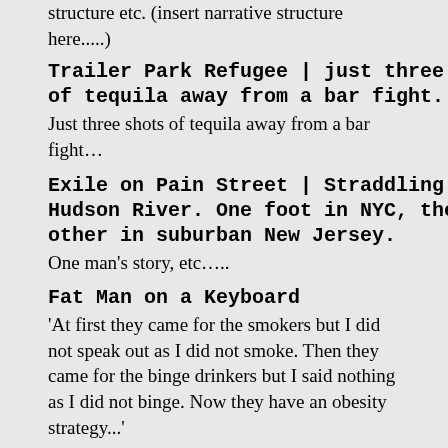structure etc. (insert narrative structure here.....)
Trailer Park Refugee | just three shots of tequila away from a bar fight....
Just three shots of tequila away from a bar fight…
Exile on Pain Street | Straddling the Hudson River. One foot in NYC, the other in suburban New Jersey.
One man's story, etc…..
Fat Man on a Keyboard
'At first they came for the smokers but I did not speak out as I did not smoke. Then they came for the binge drinkers but I said nothing as I did not binge. Now they have an obesity strategy...'
New York Bike Blog
Belgian Waffle
Prolific? Bien sur. Waffle? Not a bit of it. The best thing to come out of Belgium since
small boys w the watchful plumage, a f make an imp leading to th enclosure, I via the erect North Face w assembled la after you'- N
Negotiating population o out of the di to the car-pa to suspect th Seventeenth over his land through his la emerging bli to complain